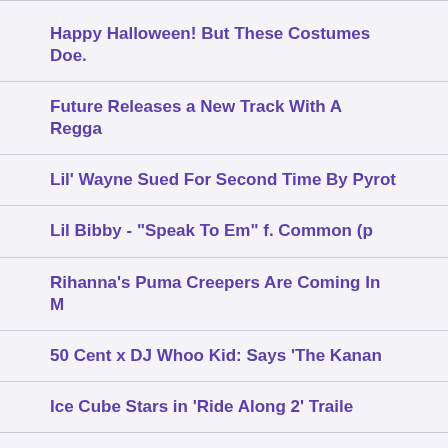Happy Halloween! But These Costumes Doe.
Future Releases a New Track With A Regga
Lil' Wayne Sued For Second Time By Pyrot
Lil Bibby - "Speak To Em" f. Common (p
Rihanna's Puma Creepers Are Coming In M
50 Cent x DJ Whoo Kid: Says 'The Kanan
Ice Cube Stars in 'Ride Along 2' Traile